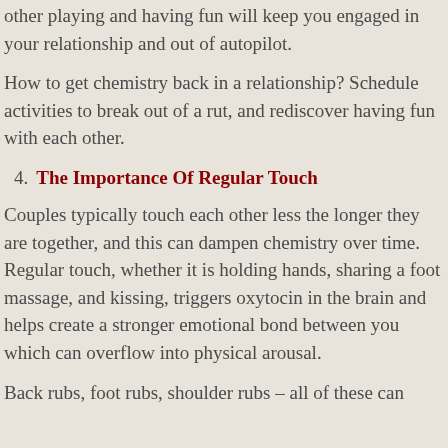other playing and having fun will keep you engaged in your relationship and out of autopilot.
How to get chemistry back in a relationship? Schedule activities to break out of a rut, and rediscover having fun with each other.
4. The Importance Of Regular Touch
Couples typically touch each other less the longer they are together, and this can dampen chemistry over time. Regular touch, whether it is holding hands, sharing a foot massage, and kissing, triggers oxytocin in the brain and helps create a stronger emotional bond between you which can overflow into physical arousal.
Back rubs, foot rubs, shoulder rubs – all of these can